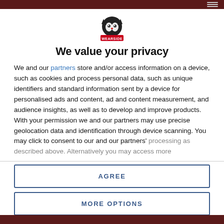[Figure (logo): Wearside logo — stylized cat/badger mascot with red and black text 'WEARSIDE']
We value your privacy
We and our partners store and/or access information on a device, such as cookies and process personal data, such as unique identifiers and standard information sent by a device for personalised ads and content, ad and content measurement, and audience insights, as well as to develop and improve products. With your permission we and our partners may use precise geolocation data and identification through device scanning. You may click to consent to our and our partners' processing as described above. Alternatively you may access more
AGREE
MORE OPTIONS